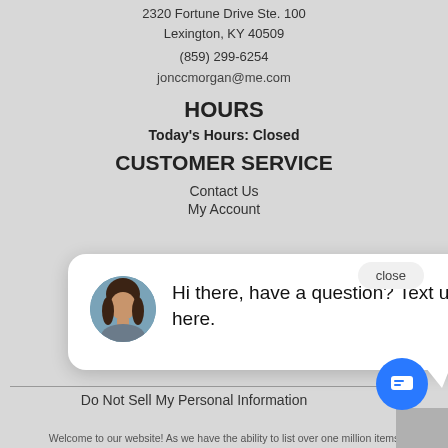2320 Fortune Drive Ste. 100
Lexington, KY 40509
(859) 299-6254
jonccmorgan@me.com
HOURS
Today's Hours: Closed
CUSTOMER SERVICE
Contact Us
My Account
[Figure (screenshot): Chat popup widget with avatar photo of a woman and text 'Hi there, have a question? Text us here.' with a close button and blue chat FAB button.]
Do Not Sell My Personal Information
Welcome to our website! As we have the ability to list over one million items